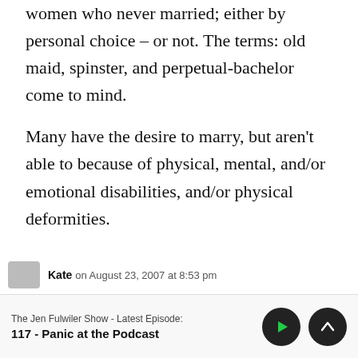women who never married; either by personal choice – or not. The terms: old maid, spinster, and perpetual-bachelor come to mind.
Many have the desire to marry, but aren't able to because of physical, mental, and/or emotional disabilities, and/or physical deformities.
Kate on August 23, 2007 at 8:53 pm
The Jen Fulwiler Show - Latest Episode:
117 - Panic at the Podcast